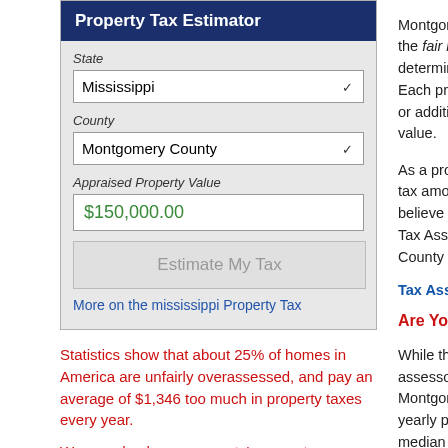Property Tax Estimator
State
Mississippi
County
Montgomery County
Appraised Property Value
$150,000.00
Estimate My Tax
More on the mississippi Property Tax
Statistics show that about 25% of homes in America are unfairly overassessed, and pay an average of $1,346 too much in property taxes every year.
We can check your property's current
Montgomery Cou... the fair market valu... determined by the... Each property is in... or additions made t... value.
As a property owne... tax amount you are... believe that the val... Tax Assessor's offi... County property ta...
Tax Assessor's O...
Are You Paying To...
While the exact propert... assessor on a property... Montgomery County pr... yearly property tax. Ou... median property tax lev... County area.